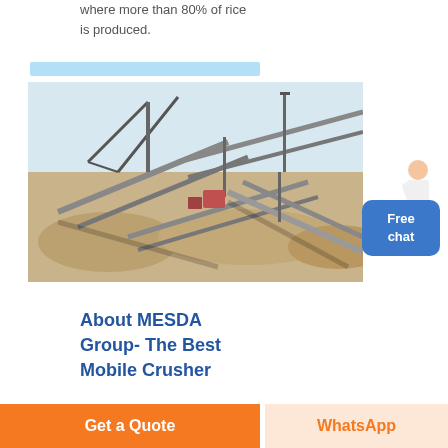where more than 80% of rice is produced.
[Figure (photo): Aerial view of a large open-air mining/crushing plant with multiple conveyor belts, machinery, and gravel piles.]
[Figure (illustration): Small illustration of a woman in white outfit with orange button labeled 'Free chat']
About MESDA Group- The Best Mobile Crusher
Get a Quote
WhatsApp